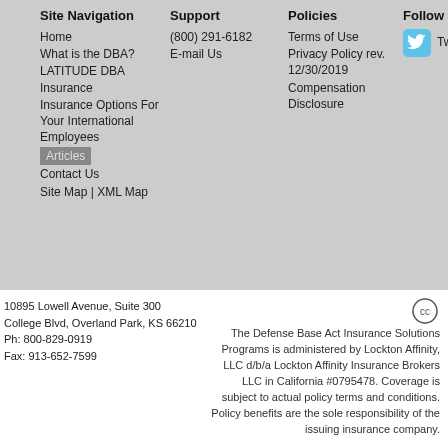Site Navigation
Home
What is the DBA?
LATITUDE DBA Insurance
Insurance Options For Your International Employees
Articles
Contact Us
Site Map | XML Map
Support
(800) 291-6182
E-mail Us
Policies
Terms of Use
Privacy Policy rev. 12/30/2019
Compensation Disclosure
Follow Us
[Figure (logo): Twitter bird logo icon in light blue rounded square]
Twitter
10895 Lowell Avenue, Suite 300
College Blvd, Overland Park, KS 66210
Ph: 800-829-0919
Fax: 913-652-7599
The Defense Base Act Insurance Solutions Programs is administered by Lockton Affinity, LLC d/b/a Lockton Affinity Insurance Brokers LLC in California #0795478. Coverage is subject to actual policy terms and conditions. Policy benefits are the sole responsibility of the issuing insurance company.